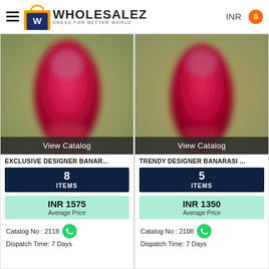WHOLESALEZ DRESS FOR BETTER WORLD — INR — 0
[Figure (screenshot): Blurred product photo of a red garment on left card]
View Catalog
EXCLUSIVE DESIGNER BANAR...
8 ITEMS
INR 1575 Average Price
Catalog No : 2118
Dispatch Time: 7 Days
[Figure (screenshot): Blurred product photo of a red garment on right card]
View Catalog
TRENDY DESIGNER BANARASI ...
5 ITEMS
INR 1350 Average Price
Catalog No : 2108
Dispatch Time: 7 Days